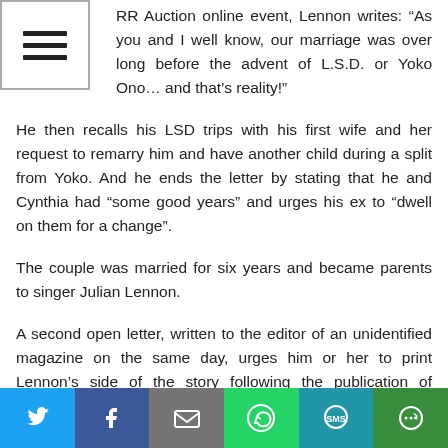RR Auction online event, Lennon writes: “As you and I well know, our marriage was over long before the advent of L.S.D. or Yoko Ono… and that’s reality!”
He then recalls his LSD trips with his first wife and her request to remarry him and have another child during a split from Yoko. And he ends the letter by stating that he and Cynthia had “some good years” and urges his ex to “dwell on them for a change”.
The couple was married for six years and became parents to singer Julian Lennon.
A second open letter, written to the editor of an unidentified magazine on the same day, urges him or her to print Lennon’s side of the story following the publication of excerpts of Cynthia’s book in the News of the World.
Both letters are up for sale, with the current bidding at just under $8,000 (GBP6,100).
Twitter | Facebook | Email | WhatsApp | SMS | More